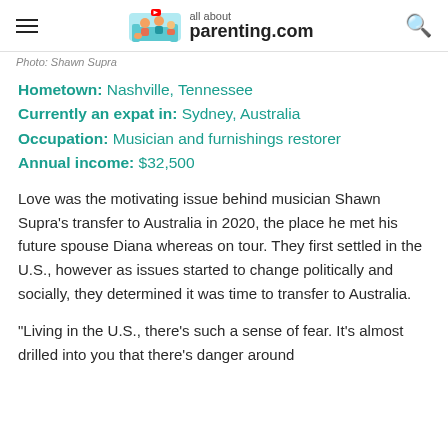all about parenting.com
Photo: Shawn Supra
Hometown: Nashville, Tennessee
Currently an expat in: Sydney, Australia
Occupation: Musician and furnishings restorer
Annual income: $32,500
Love was the motivating issue behind musician Shawn Supra's transfer to Australia in 2020, the place he met his future spouse Diana whereas on tour. They first settled in the U.S., however as issues started to change politically and socially, they determined it was time to transfer to Australia.
“Living in the U.S., there’s such a sense of fear. It’s almost drilled into you that there’s danger around